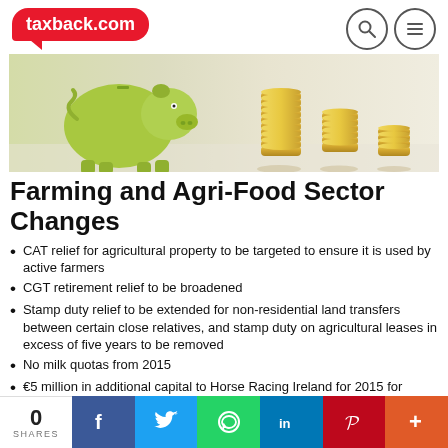taxback.com
[Figure (photo): A green piggy bank beside three stacks of gold coins of decreasing height on a white reflective surface.]
Farming and Agri-Food Sector Changes
CAT relief for agricultural property to be targeted to ensure it is used by active farmers
CGT retirement relief to be broadened
Stamp duty relief to be extended for non-residential land transfers between certain close relatives, and stamp duty on agricultural leases in excess of five years to be removed
No milk quotas from 2015
€5 million in additional capital to Horse Racing Ireland for 2015 for investment in...